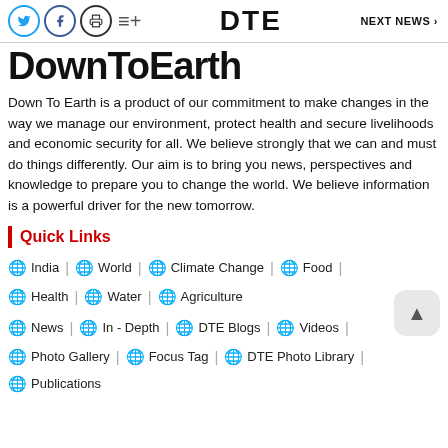DTE | NEXT NEWS >
DownToEarth
Down To Earth is a product of our commitment to make changes in the way we manage our environment, protect health and secure livelihoods and economic security for all. We believe strongly that we can and must do things differently. Our aim is to bring you news, perspectives and knowledge to prepare you to change the world. We believe information is a powerful driver for the new tomorrow.
Quick Links
India | World | Climate Change | Food
Health | Water | Agriculture
News | In - Depth | DTE Blogs | Videos
Photo Gallery | Focus Tag | DTE Photo Library
Publications